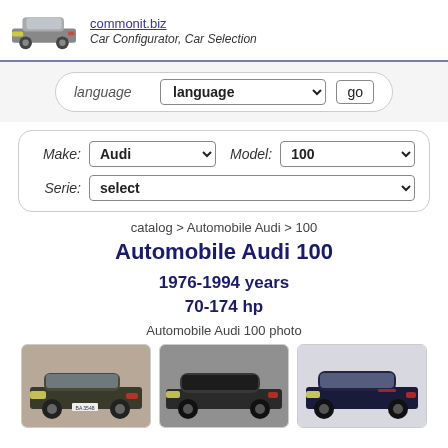commonit.biz
Car Configurator, Car Selection
language  language  go
Make: Audi   Model: 100
Serie: select
catalog > Automobile Audi > 100
Automobile Audi 100
1976-1994 years
70-174 hp
Automobile Audi 100 photo
[Figure (photo): Three Audi 100 car photos shown as thumbnails]
[Figure (photo): Audi 100 front view photo]
[Figure (photo): Audi 100 side view photo]